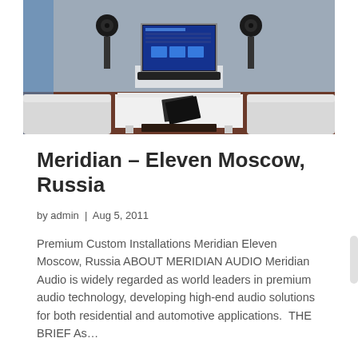[Figure (photo): Modern living room with white sofas, a white coffee table with magazines, a flat-screen TV with a blue interface, loudspeakers on stands, and a soundbar below the TV. Dark wood floor visible.]
Meridian – Eleven Moscow, Russia
by admin  |  Aug 5, 2011
Premium Custom Installations Meridian Eleven Moscow, Russia ABOUT MERIDIAN AUDIO Meridian Audio is widely regarded as world leaders in premium audio technology, developing high-end audio solutions for both residential and automotive applications.  THE BRIEF As...